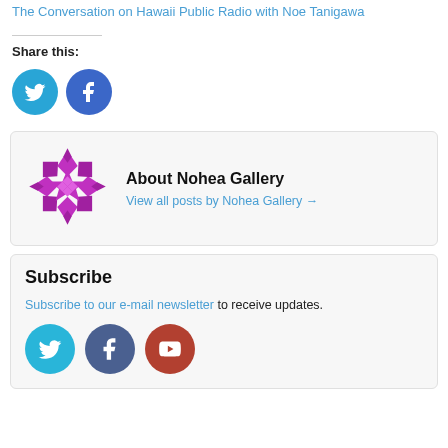The Conversation on Hawaii Public Radio with Noe Tanigawa
Share this:
[Figure (illustration): Twitter and Facebook share buttons as blue circles with white icons]
[Figure (logo): Nohea Gallery logo: magenta/purple geometric quilt pattern in a circle]
About Nohea Gallery
View all posts by Nohea Gallery →
Subscribe
Subscribe to our e-mail newsletter to receive updates.
[Figure (illustration): Twitter, Facebook, and YouTube social icons as colored circles]